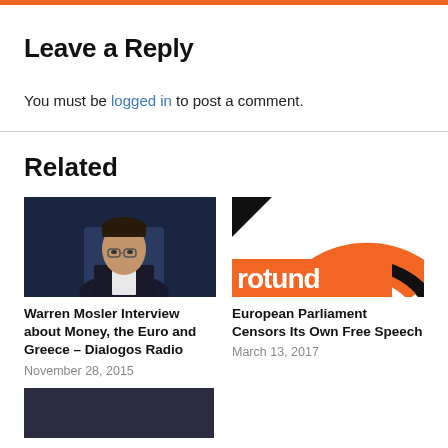Leave a Reply
You must be logged in to post a comment.
Related
[Figure (photo): Warren Mosler, a man in a dark suit with glasses, seated at a table in front of a dark blue background]
Warren Mosler Interview about Money, the Euro and Greece – Dialogos Radio
November 28, 2015
[Figure (logo): Turnaround logo with orange and black concentric arcs on white background with orange banner showing partial text 'rotund']
European Parliament Censors Its Own Free Speech
March 13, 2017